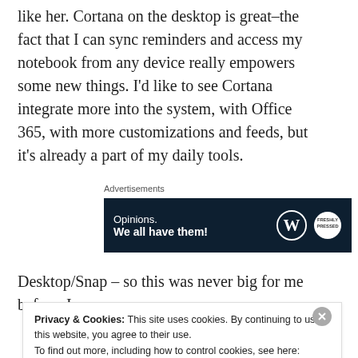like her. Cortana on the desktop is great–the fact that I can sync reminders and access my notebook from any device really empowers some new things. I'd like to see Cortana integrate more into the system, with Office 365, with more customizations and feeds, but it's already a part of my daily tools.
Advertisements
[Figure (other): Dark navy advertisement banner reading 'Opinions. We all have them!' with WordPress and Freshly Pressed logos on the right.]
Desktop/Snap – so this was never big for me before, I
Privacy & Cookies: This site uses cookies. By continuing to use this website, you agree to their use.
To find out more, including how to control cookies, see here: Cookie Policy
Close and accept